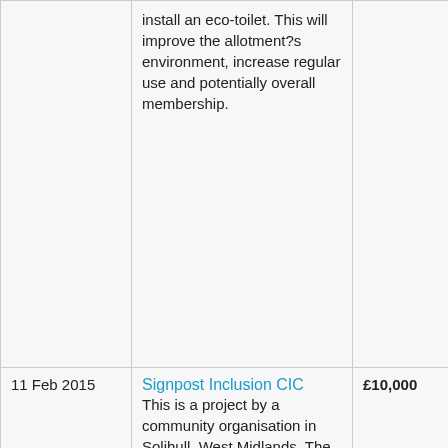| Date | Organisation / Description | Amount | Funder |
| --- | --- | --- | --- |
|  | install an eco-toilet. This will improve the allotment?s environment, increase regular use and potentially overall membership. |  |  |
| 11 Feb 2015 | Signpost Inclusion CIC
This is a project by a community organisation in Solihull, West Midlands. The | £10,000 | Big Lottery Fund |